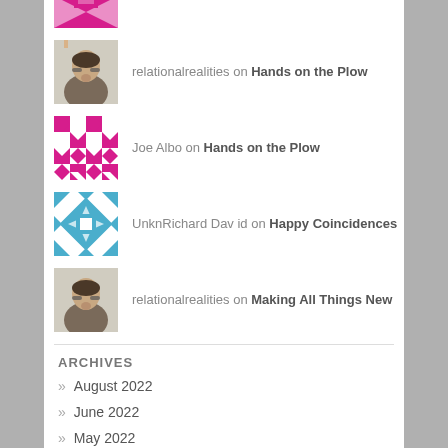relationalrealities on Hands on the Plow
Joe Albo on Hands on the Plow
UnknRichard David on Happy Coincidences
relationalrealities on Making All Things New
ARCHIVES
» August 2022
» June 2022
» May 2022
» April 2022